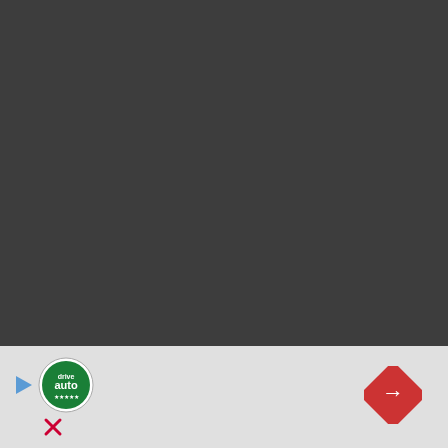A metallic noise resounded, few of the Flying Daggers in the sky were broken into pieces simultaneously. The resplendent sword of rain condensed from void power took the form of Xiao Li's Flying Dagger. They emitted glaring rays of light and was shot towards Wharton.
Even if Wharton was powerful, he was powerless to do anything at the moment. He had the same feeling as Xiao Chen at that time. He felt his entire body was being bound in the spa... hable to budge a...
[Figure (other): Advertisement banner with DriveAuto logo, play button, close button, and navigation arrow icon]